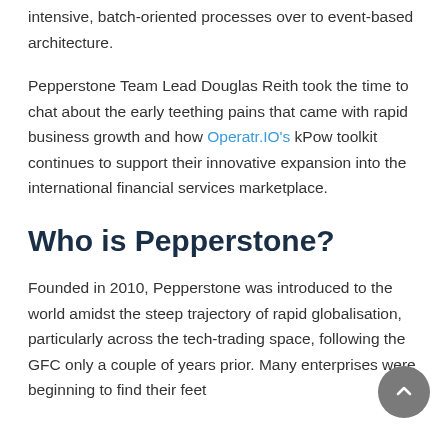intensive, batch-oriented processes over to event-based architecture.
Pepperstone Team Lead Douglas Reith took the time to chat about the early teething pains that came with rapid business growth and how Operatr.IO's kPow toolkit continues to support their innovative expansion into the international financial services marketplace.
Who is Pepperstone?
Founded in 2010, Pepperstone was introduced to the world amidst the steep trajectory of rapid globalisation, particularly across the tech-trading space, following the GFC only a couple of years prior. Many enterprises were beginning to find their feet